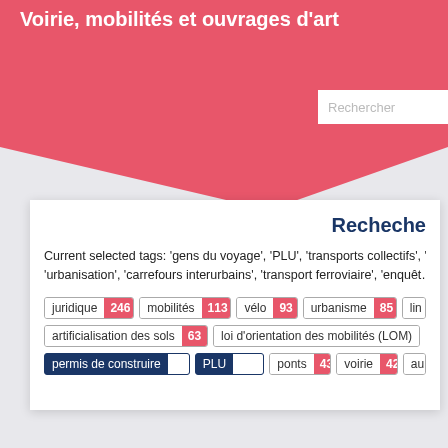Voirie, mobilités et ouvrages d'art
Current selected tags: 'gens du voyage', 'PLU', 'transports collectifs', 'urbanisation', 'carrefours interurbains', 'transport ferroviaire', 'enquêt…
juridique 246  mobilités 113  vélo 93  urbanisme 85  li…  artificialisation des sols 63  loi d'orientation des mobilités (LOM)  permis de construire  PLU  ponts 43  voirie 42  a…